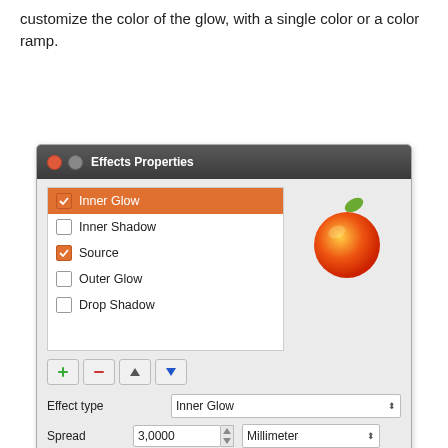customize the color of the glow, with a single color or a color ramp.
[Figure (screenshot): Effects Properties dialog showing Inner Glow selected in a list with Inner Shadow, Source (checked), Outer Glow, Drop Shadow. An orange apple illustration appears top-right. Below are toolbar buttons (add, remove, up, down), then form fields: Effect type (Inner Glow), Spread (3,0000 Millimeter), Blur radius (3), Transparency (slider at 0,0%), Single color (red swatch, selected radio), Color ramp (gray gradient, source, Edit button), Blend mode (Normal).]